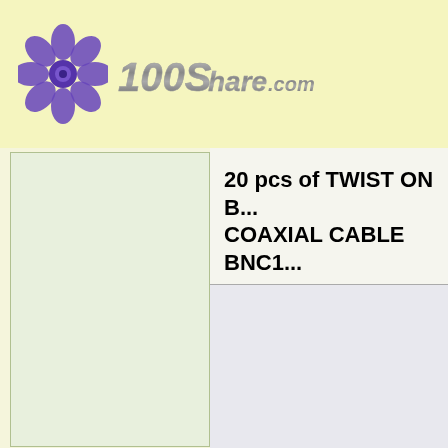[Figure (logo): 100Share.com logo with purple flower/gear icon and metallic italic text '100Share.com']
20 pcs of TWIST ON B... COAXIAL CABLE BNC1...
Lis...
Ou...
Yo...
Product Description
Pack of 20 pcs Professional RG6 Cable BNC Tw... to inquire about Camera, cable and DVR deals. BNC twist on terminator for RG6 cables. Quicke... grade, top quality. Use for RG6 Coax cable. No...